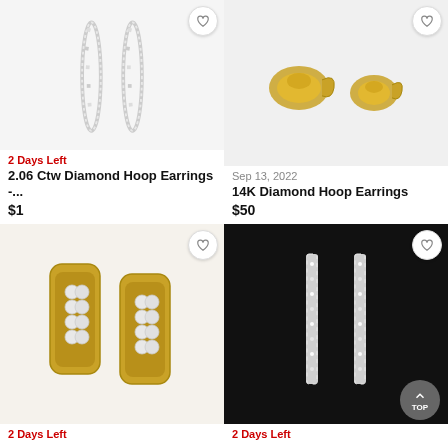[Figure (photo): Diamond hoop earrings (thin, silver) on white background]
2 Days Left
2.06 Ctw Diamond Hoop Earrings -...
$1
[Figure (photo): 14K gold clip-on earrings on light gray background]
Sep 13, 2022
14K Diamond Hoop Earrings
$50
[Figure (photo): Yellow gold diamond cluster hoop earrings on white background]
2 Days Left
[Figure (photo): Thin diamond bar earrings on black background]
2 Days Left